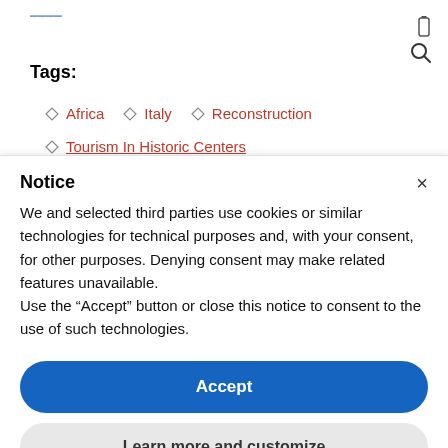Tags:
Africa
Italy
Reconstruction
Tourism In Historic Centers
Notice
We and selected third parties use cookies or similar technologies for technical purposes and, with your consent, for other purposes. Denying consent may make related features unavailable.
Use the “Accept” button or close this notice to consent to the use of such technologies.
Accept
Learn more and customize